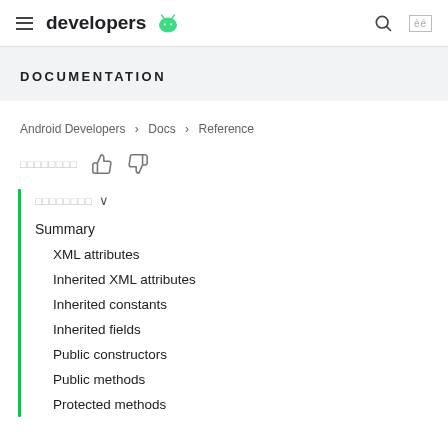developers [android logo]
DOCUMENTATION
Android Developers > Docs > Reference
[feedback label] [thumbs up] [thumbs down]
[language selector] ∨
Summary
XML attributes
Inherited XML attributes
Inherited constants
Inherited fields
Public constructors
Public methods
Protected methods